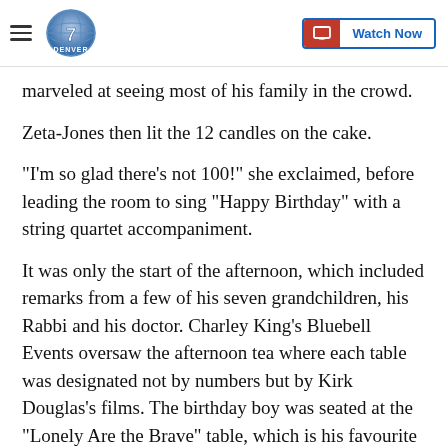Denver7 — Watch Now
marveled at seeing most of his family in the crowd.
Zeta-Jones then lit the 12 candles on the cake.
"I'm so glad there's not 100!" she exclaimed, before leading the room to sing "Happy Birthday" with a string quartet accompaniment.
It was only the start of the afternoon, which included remarks from a few of his seven grandchildren, his Rabbi and his doctor. Charley King's Bluebell Events oversaw the afternoon tea where each table was designated not by numbers but by Kirk Douglas's films. The birthday boy was seated at the "Lonely Are the Brave" table, which is his favourite film.